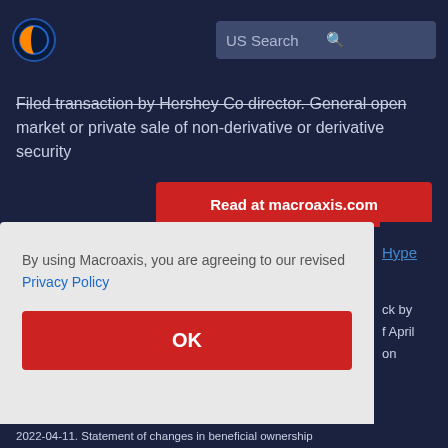US Search
Filed transaction by Hershey Co director. General open market or private sale of non-derivative or derivative security
Read at macroaxis.com
By using Macroaxis, you are agreeing to our revised Privacy Policy
OK
Hype
ck by f April on
2022-04-11. Statement of changes in beneficial ownership